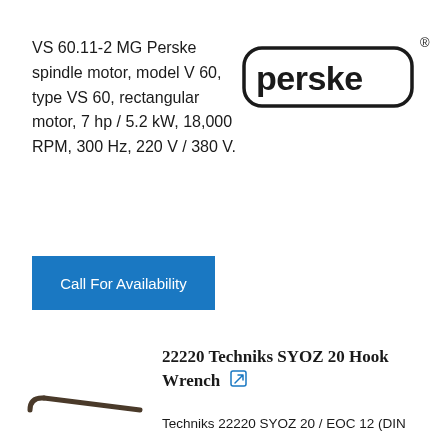VS 60.11-2 MG Perske spindle motor, model V 60, type VS 60, rectangular motor, 7 hp / 5.2 kW, 18,000 RPM, 300 Hz, 220 V / 380 V.
[Figure (logo): Perske brand logo: rounded rectangle outline with bold text 'perske' in lower case, with registered trademark symbol in upper right]
Call For Availability
[Figure (illustration): Hook wrench tool silhouette - a flat spanner/wrench with a curved hook end, shown in dark gray/brown]
22220 Techniks SYOZ 20 Hook Wrench
Techniks 22220 SYOZ 20 / EOC 12 (DIN